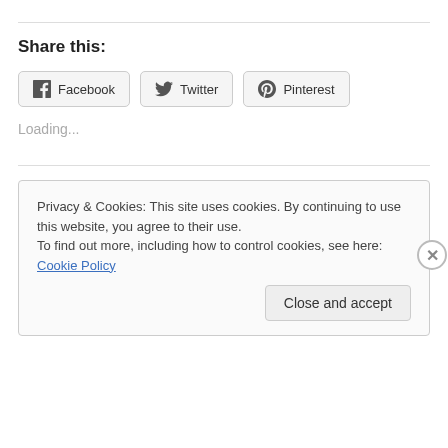Share this:
[Figure (other): Social share buttons: Facebook, Twitter, Pinterest]
Loading...
Privacy & Cookies: This site uses cookies. By continuing to use this website, you agree to their use.
To find out more, including how to control cookies, see here: Cookie Policy
Close and accept